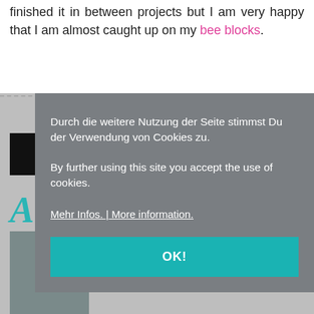finished it in between projects but I am very happy that I am almost caught up on my bee blocks.
Durch die weitere Nutzung der Seite stimmst Du der Verwendung von Cookies zu.

By further using this site you accept the use of cookies.

Mehr Infos. | More information.

OK!